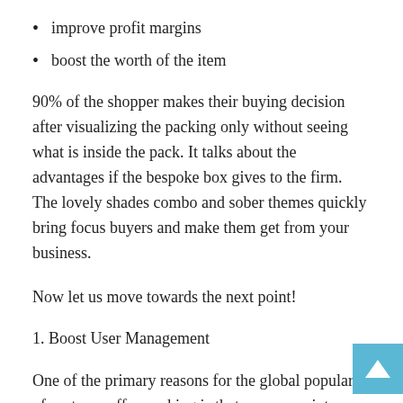improve profit margins
boost the worth of the item
90% of the shopper makes their buying decision after visualizing the packing only without seeing what is inside the pack. It talks about the advantages if the bespoke box gives to the firm. The lovely shades combo and sober themes quickly bring focus buyers and make them get from your business.
Now let us move towards the next point!
1. Boost User Management
One of the primary reasons for the global popularity of custom coffee packing is that you can print anything on it. There is much more the printing log and the name of the firm. for